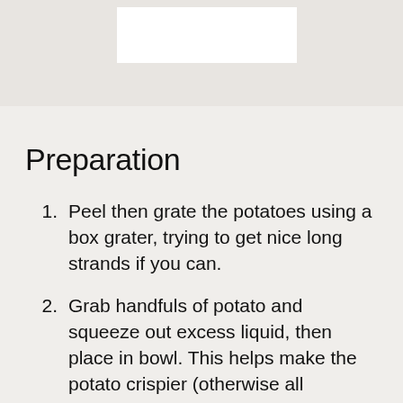Preparation
Peel then grate the potatoes using a box grater, trying to get nice long strands if you can.
Grab handfuls of potato and squeeze out excess liquid, then place in bowl. This helps make the potato crispier (otherwise all